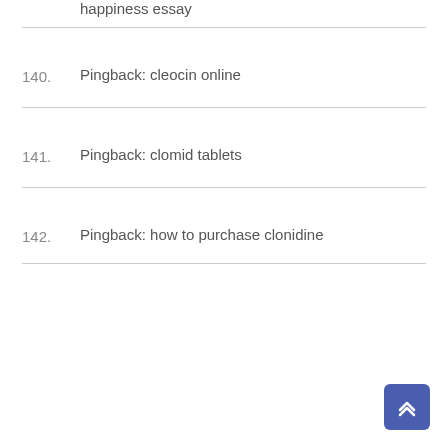happiness essay
140.  Pingback: cleocin online
141.  Pingback: clomid tablets
142.  Pingback: how to purchase clonidine